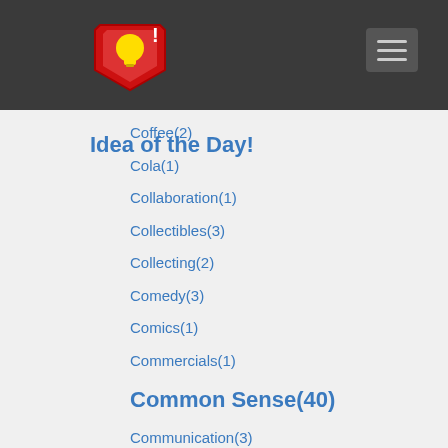[Figure (logo): Idea of the Day logo - red shield with lightbulb and exclamation mark]
Idea of the Day!
Coffee(2)
Cola(1)
Collaboration(1)
Collectibles(3)
Collecting(2)
Comedy(3)
Comics(1)
Commercials(1)
Common Sense(40)
Communication(3)
Companies(1)
Compatibility(1)
Computers(6)
Computing(108)
Condiments(1)
Consumer Awareness(2)
Consumers(1)
Content Marketing(1)
Contract(1)
Convenience(1)